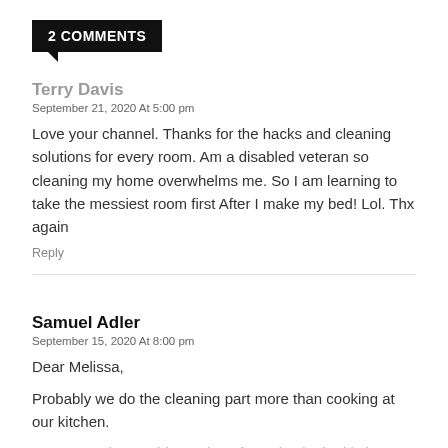2 COMMENTS
Terry Davis
September 21, 2020 At 5:00 pm
Love your channel. Thanks for the hacks and cleaning solutions for every room. Am a disabled veteran so cleaning my home overwhelms me. So I am learning to take the messiest room first After I make my bed! Lol. Thx again
Reply
Samuel Adler
September 15, 2020 At 8:00 pm
Dear Melissa,
Probably we do the cleaning part more than cooking at our kitchen.
As we stay busy a big portion of our day in the kitchen, on